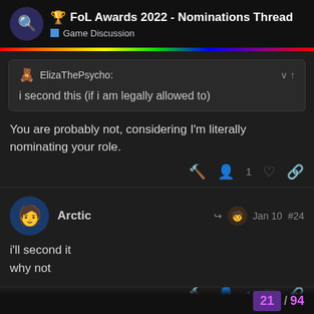🏆 FoL Awards 2022 - Nominations Thread | Game Discussion
ElizaThePycho: i second this (if i am legally allowed to)
You are probably not, considering I'm literally nominating your role.
Arctic
Jan 10 #24
i'll second it
why not
21 / 94